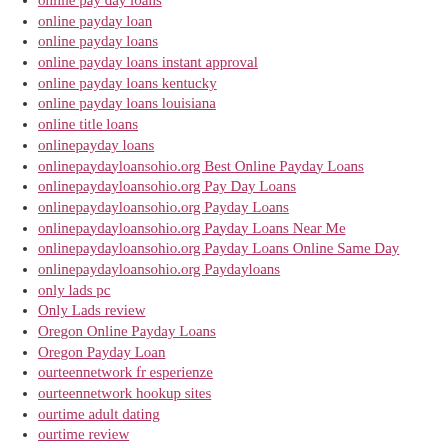online pay day loans
online payday loan
online payday loans
online payday loans instant approval
online payday loans kentucky
online payday loans louisiana
online title loans
onlinepayday loans
onlinepaydayloansohio.org Best Online Payday Loans
onlinepaydayloansohio.org Pay Day Loans
onlinepaydayloansohio.org Payday Loans
onlinepaydayloansohio.org Payday Loans Near Me
onlinepaydayloansohio.org Payday Loans Online Same Day
onlinepaydayloansohio.org Paydayloans
only lads pc
Only Lads review
Oregon Online Payday Loans
Oregon Payday Loan
ourteennetwork fr esperienze
ourteennetwork hookup sites
ourtime adult dating
ourtime review
ourtime reviews
ourtime visitors
outpersonals dating